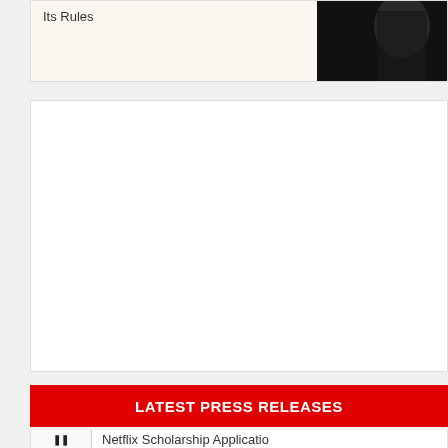Its Rules
[Figure (photo): Dark photo of a person, partially visible, against a dark background]
[Figure (other): White advertisement block]
LATEST PRESS RELEASES
Netflix Scholarship Applicatio